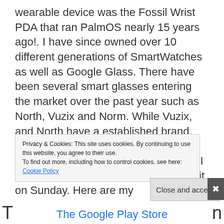wearable device was the Fossil Wrist PDA that ran PalmOS nearly 15 years ago!. I have since owned over 10 different generations of SmartWatches as well as Google Glass. There have been several smart glasses entering the market over the past year such as North, Vuzix and Norm. While Vuzix, and North have a established brand, the newcomer, Norm has got something special on their hands and I got to spend a few hours playing with it on Sunday. Here are my
Privacy & Cookies: This site uses cookies. By continuing to use this website, you agree to their use.
To find out more, including how to control cookies, see here:
Cookie Policy
Close and accept
T ... n
The Google Play Store